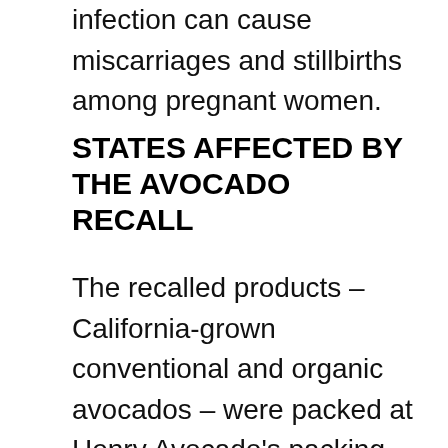infection can cause miscarriages and stillbirths among pregnant women.
STATES AFFECTED BY THE AVOCADO RECALL
The recalled products – California-grown conventional and organic avocados – were packed at Henry Avocado's packing facility in California and distributed in Arizona, California, Florida, New Hampshire, North Carolina and Wisconsin. All shipments from the packing facility are subject to the recall (because all that text continues)